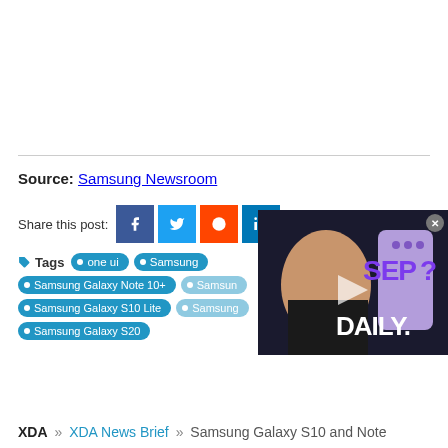Source: Samsung Newsroom
Share this post:
Tags  one ui  Samsung  Samsung Galaxy Note 10+  Samsung Galaxy S10 Lite  Samsung Galaxy S20
[Figure (screenshot): Video thumbnail overlay showing a person and a purple smartphone with text SEP... ? DAILY. on dark background]
XDA » XDA News Brief » Samsung Galaxy S10 and Note